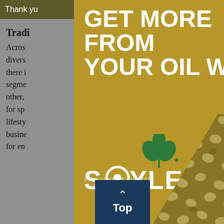Thank you ... tools you
Traditional ... ats
Across ... as diverse ... s, there i ... one segme ... e. The other, ... hased for sp ... out a lifesty ... busine ... for en ...
[Figure (advertisement): Modal advertisement overlay on golden/olive background with bold white heading 'GET MORE FROM YOUR OIL WITH', the Soyleic logo (green plant sprout icon above stylized text SOYLETC with a soybean replacing the O), text 'SPONSORED BY UNITED SOYBEAN BOARD', and a photo of soybeans in the bottom-right corner with a diagonal reveal. A close (X) button appears in the top-right corner.]